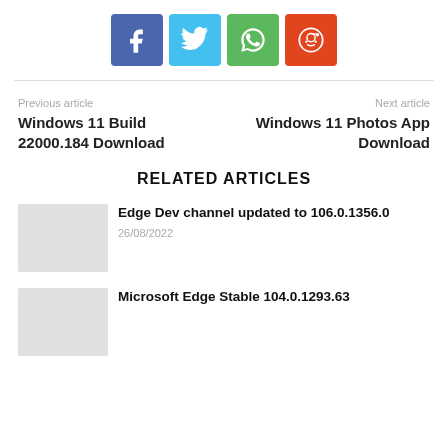[Figure (other): Social share buttons: Facebook (blue), Twitter (light blue), WhatsApp (green), Reddit (orange-red)]
Previous article
Windows 11 Build 22000.184 Download
Next article
Windows 11 Photos App Download
RELATED ARTICLES
Edge Dev channel updated to 106.0.1356.0
26/08/2022
Microsoft Edge Stable 104.0.1293.63